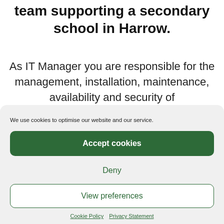team supporting a secondary school in Harrow.
As IT Manager you are responsible for the management, installation, maintenance, availability and security of
We use cookies to optimise our website and our service.
Accept cookies
Deny
View preferences
Cookie Policy  Privacy Statement